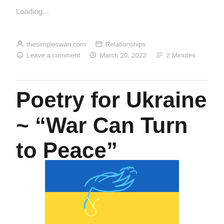Loading...
thesimpleswan.com   Relationships   Leave a comment   March 20, 2022   2 Minutes
Poetry for Ukraine ~ “War Can Turn to Peace”
[Figure (illustration): Ukrainian flag (blue top half, yellow bottom half) with a stylized dove/peace bird outline drawn in cyan/light blue on the blue portion and yellow on the yellow portion.]